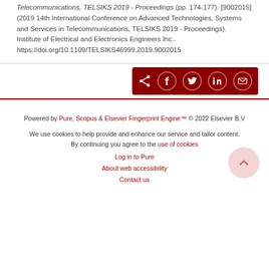Telecommunications, TELSIKS 2019 - Proceedings (pp. 174-177). [9002015] (2019 14th International Conference on Advanced Technologies, Systems and Services in Telecommunications, TELSIKS 2019 - Proceedings). Institute of Electrical and Electronics Engineers Inc.. https://doi.org/10.1109/TELSIKS46999.2019.9002015
[Figure (other): Dark red share button bar with social media icons: share, Facebook, Twitter, LinkedIn, email]
Powered by Pure, Scopus & Elsevier Fingerprint Engine™ © 2022 Elsevier B.V
We use cookies to help provide and enhance our service and tailor content. By continuing you agree to the use of cookies
Log in to Pure
About web accessibility
Contact us